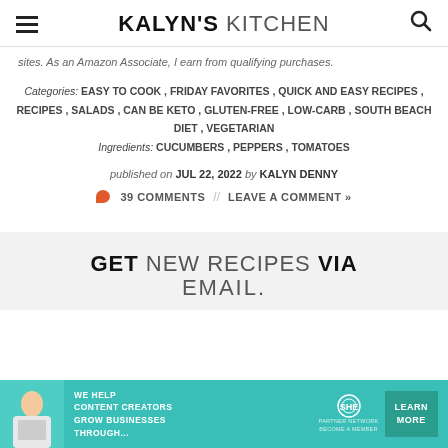KALYN'S KITCHEN
sites. As an Amazon Associate, I earn from qualifying purchases.
Categories: EASY TO COOK, FRIDAY FAVORITES, QUICK AND EASY RECIPES, RECIPES, SALADS, CAN BE KETO, GLUTEN-FREE, LOW-CARB, SOUTH BEACH DIET, VEGETARIAN
Ingredients: CUCUMBERS, PEPPERS, TOMATOES
published on JUL 22, 2022 by KALYN DENNY
39 COMMENTS // LEAVE A COMMENT »
GET NEW RECIPES VIA EMAIL.
[Figure (infographic): Advertisement banner for SHE Media Partner Network: 'We help content creators grow businesses through...' with a LEARN MORE button]